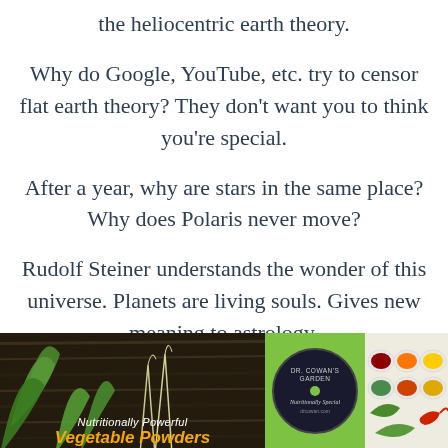the heliocentric earth theory.
Why do Google, YouTube, etc. try to censor flat earth theory?  They don't want you to think you're special.
After a year, why are stars in the same place?  Why does Polaris never move?
Rudolf Steiner understands the wonder of this universe.  Planets are living souls.  Gives new meaning to astrology.
[Figure (photo): Advertisement banner showing vegetable powders product with green plants, a circular Dr. Cowan's Garden logo on green background, and colorful spice bowls on the right.]